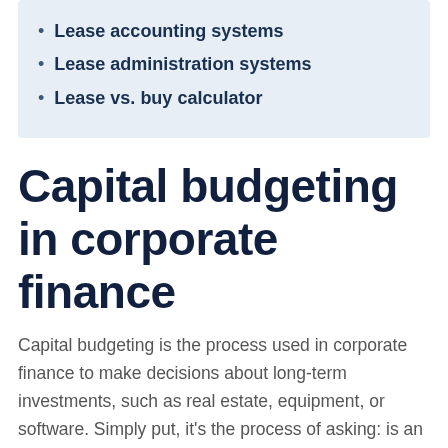Lease accounting systems
Lease administration systems
Lease vs. buy calculator
Capital budgeting in corporate finance
Capital budgeting is the process used in corporate finance to make decisions about long-term investments, such as real estate, equipment, or software. Simply put, it's the process of asking: is an asset